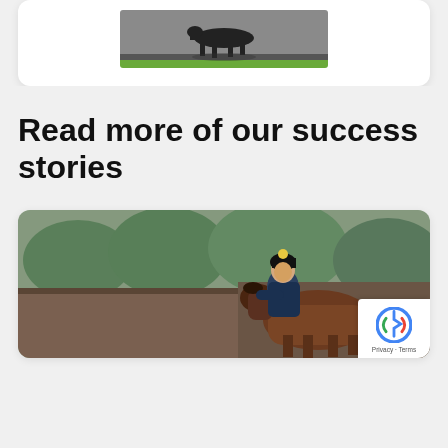[Figure (photo): Partial view of a black horse trotting in an arena, grayscale photo with green grass border at bottom, shown in a white card]
Read more of our success stories
[Figure (photo): A rider wearing a black helmet with pom-pom sitting on a brown horse, outdoor stable/trees background, color photo]